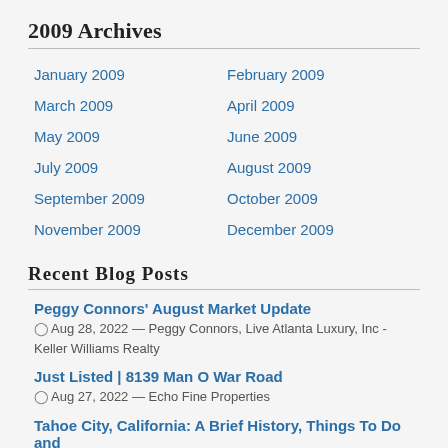2009 Archives
January 2009
February 2009
March 2009
April 2009
May 2009
June 2009
July 2009
August 2009
September 2009
October 2009
November 2009
December 2009
Recent Blog Posts
Peggy Connors' August Market Update
Aug 28, 2022 — Peggy Connors, Live Atlanta Luxury, Inc - Keller Williams Realty
Just Listed | 8139 Man O War Road
Aug 27, 2022 — Echo Fine Properties
Tahoe City, California: A Brief History, Things To Do and